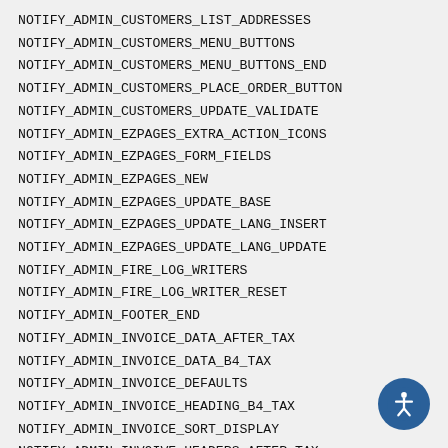NOTIFY_ADMIN_CUSTOMERS_LIST_ADDRESSES
NOTIFY_ADMIN_CUSTOMERS_MENU_BUTTONS
NOTIFY_ADMIN_CUSTOMERS_MENU_BUTTONS_END
NOTIFY_ADMIN_CUSTOMERS_PLACE_ORDER_BUTTON
NOTIFY_ADMIN_CUSTOMERS_UPDATE_VALIDATE
NOTIFY_ADMIN_EZPAGES_EXTRA_ACTION_ICONS
NOTIFY_ADMIN_EZPAGES_FORM_FIELDS
NOTIFY_ADMIN_EZPAGES_NEW
NOTIFY_ADMIN_EZPAGES_UPDATE_BASE
NOTIFY_ADMIN_EZPAGES_UPDATE_LANG_INSERT
NOTIFY_ADMIN_EZPAGES_UPDATE_LANG_UPDATE
NOTIFY_ADMIN_FIRE_LOG_WRITERS
NOTIFY_ADMIN_FIRE_LOG_WRITER_RESET
NOTIFY_ADMIN_FOOTER_END
NOTIFY_ADMIN_INVOICE_DATA_AFTER_TAX
NOTIFY_ADMIN_INVOICE_DATA_B4_TAX
NOTIFY_ADMIN_INVOICE_DEFAULTS
NOTIFY_ADMIN_INVOICE_HEADING_B4_TAX
NOTIFY_ADMIN_INVOICE_SORT_DISPLAY
NOTIFY_ADMIN_INVOIVE_HEADERS_AFTER_TAX
NOTIFY_ADMIN_LANGUAGE_DELETE